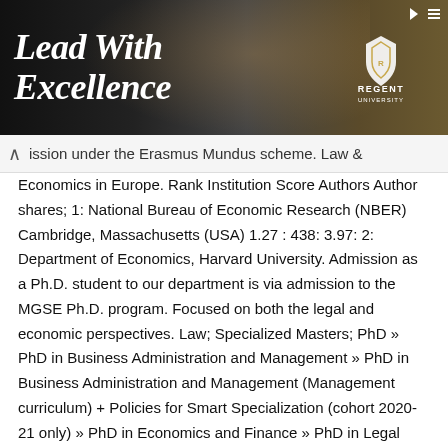[Figure (photo): Advertisement banner for Regent University with 'Lead With Excellence' text in white italic on dark background, with a smiling graduate in the background and the Regent University logo.]
ission under the Erasmus Mundus scheme. Law & Economics in Europe. Rank Institution Score Authors Author shares; 1: National Bureau of Economic Research (NBER) Cambridge, Massachusetts (USA) 1.27 : 438: 3.97: 2: Department of Economics, Harvard University. Admission as a Ph.D. student to our department is via admission to the MGSE Ph.D. program. Focused on both the legal and economic perspectives. Law; Specialized Masters; PhD » PhD in Business Administration and Management » PhD in Business Administration and Management (Management curriculum) + Policies for Smart Specialization (cohort 2020-21 only) » PhD in Economics and Finance » PhD in Legal Studies » PhD in Social and Political Science - from cohort 2021-22 » PhD in Public Policy and Administration - up to cohort 2020 … It is a joint doctoral programme by four of the leading European